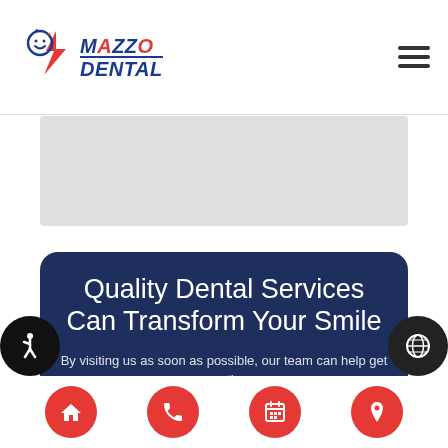[Figure (logo): Mazzo Dental logo with stylized smiley face and lightning bolt icon, bold italic text reading MAZZODENTAL]
[Figure (other): Hamburger menu icon (three horizontal lines) in upper right]
[Figure (other): Gray banner/hero image area below header]
Quality Dental Services Can Transform Your Smile
By visiting us as soon as possible, our team can help get you the
[Figure (other): Accessibility wheelchair icon in black circle on left edge]
[Figure (other): Globe/language icon in dark circle on right edge]
[Figure (other): Bottom navigation bar with four red circular icon buttons: home, phone, calendar, location pin]